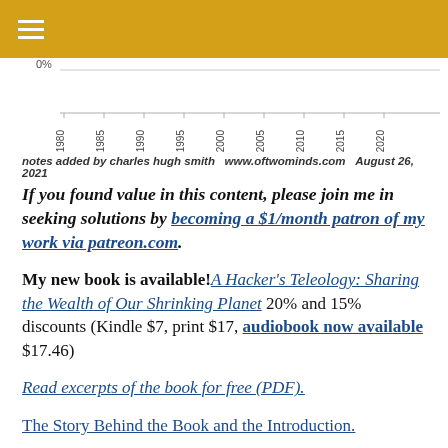[Figure (continuous-plot): Partial view of a time-series chart with x-axis labels from 1980 to 2020 in 5-year increments, 0% label visible at top-left of chart area]
notes added by charles hugh smith   www.oftwominds.com   August 26, 2021
If you found value in this content, please join me in seeking solutions by becoming a $1/month patron of my work via patreon.com.
My new book is available! A Hacker's Teleology: Sharing the Wealth of Our Shrinking Planet 20% and 15% discounts (Kindle $7, print $17, audiobook now available $17.46)
Read excerpts of the book for free (PDF).
The Story Behind the Book and the Introduction.